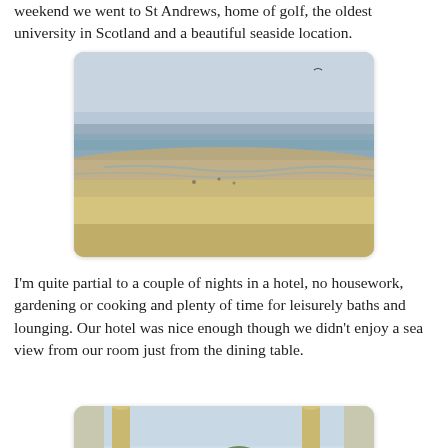weekend we went to St Andrews, home of golf, the oldest university in Scotland and a beautiful seaside location.
[Figure (photo): Aerial or elevated view of a sandy beach at St Andrews with shallow water, tidal flats, and a few distant figures. Overcast sky.]
I'm quite partial to a couple of nights in a hotel, no housework, gardening or cooking and plenty of time for leisurely baths and lounging. Our hotel was nice enough though we didn't enjoy a sea view from our room just from the dining table.
[Figure (photo): Interior dining table view looking out through a window, with wine glasses, a candle, and a flower arrangement in the foreground, sea view in the background.]